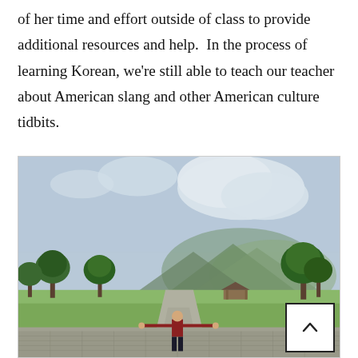of her time and effort outside of class to provide additional resources and help.  In the process of learning Korean, we're still able to teach our teacher about American slang and other American culture tidbits.
[Figure (photo): A person standing outdoors on a paved area with arms outstretched, surrounded by trees, a pavilion, open green fields, and mountains in the background under a partly cloudy sky. The setting appears to be in Korea.]